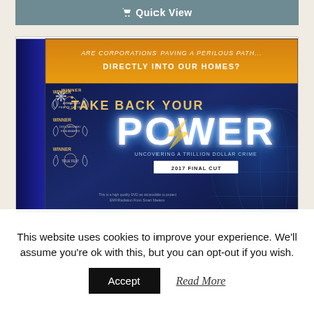🛒 Quick View
[Figure (photo): DVD box product image for 'Take Back Your Power' documentary. Box shows orange top band with text 'Are corporations paving a perilous path... directly into our homes?', multiple award laurels on left side, large title 'TAKE BACK YOUR POWER' with lightning bolt in O, subtitle 'Uncovering A Trillion Dollar Crime', '2017 Final Cut' badge, and dark blue background with globe graphic.]
This website uses cookies to improve your experience. We'll assume you're ok with this, but you can opt-out if you wish.
Accept
Read More